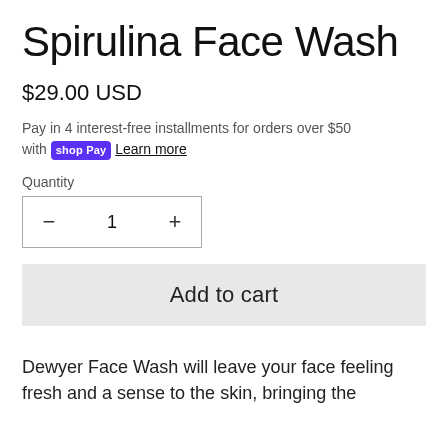Spirulina Face Wash
$29.00 USD
Pay in 4 interest-free installments for orders over $50 with shop Pay Learn more
Quantity
− 1 +
Add to cart
Dewyer Face Wash will leave your face feeling fresh and a sense to the skin, bringing the...